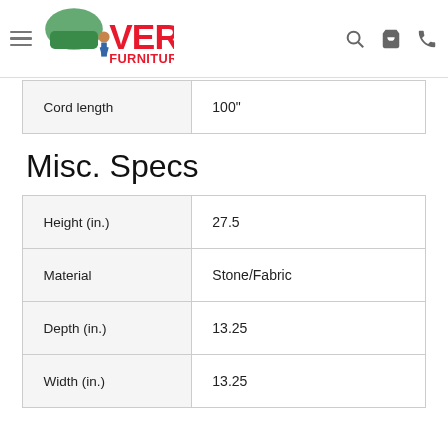VERN'S FURNITURE & APPLIANCES
| Cord length | 100" |
| --- | --- |
Misc. Specs
| Height (in.) | 27.5 |
| --- | --- |
| Material | Stone/Fabric |
| Depth (in.) | 13.25 |
| Width (in.) | 13.25 |